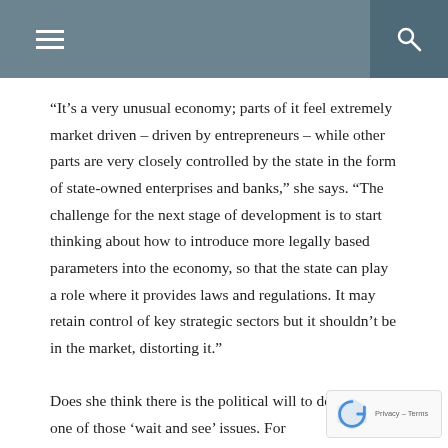navigation header with menu and search icons
“It’s a very unusual economy; parts of it feel extremely market driven – driven by entrepreneurs – while other parts are very closely controlled by the state in the form of state-owned enterprises and banks,” she says. “The challenge for the next stage of development is to start thinking about how to introduce more legally based parameters into the economy, so that the state can play a role where it provides laws and regulations. It may retain control of key strategic sectors but it shouldn’t be in the market, distorting it.”

Does she think there is the political will to do this? “It’s one of those ‘wait and see’ issues. For